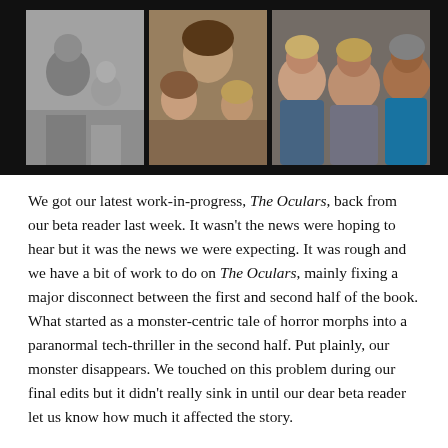[Figure (photo): Three family photos side by side on a dark background: a black-and-white photo of a woman with a young child, a color photo of a woman with two young children, and a color photo of three adults (two women and a man) smiling together.]
We got our latest work-in-progress, The Oculars, back from our beta reader last week. It wasn't the news were hoping to hear but it was the news we were expecting. It was rough and we have a bit of work to do on The Oculars, mainly fixing a major disconnect between the first and second half of the book. What started as a monster-centric tale of horror morphs into a paranormal tech-thriller in the second half. Put plainly, our monster disappears. We touched on this problem during our final edits but it didn't really sink in until our dear beta reader let us know how much it affected the story.